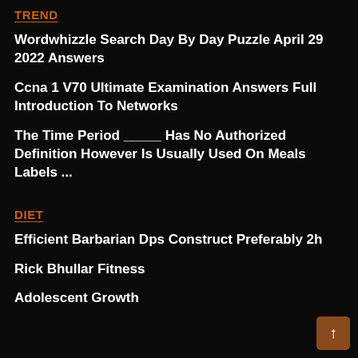TREND
Wordwhizzle Search Day By Day Puzzle April 29 2022 Answers
Ccna 1 V70 Ultimate Examination Answers Full Introduction To Networks
The Time Period _____ Has No Authorized Definition However Is Usually Used On Meals Labels ...
DIET
Efficient Barbarian Dps Construct Preferably 2h
Rick Bhullar Fitness
Adolescent Growth